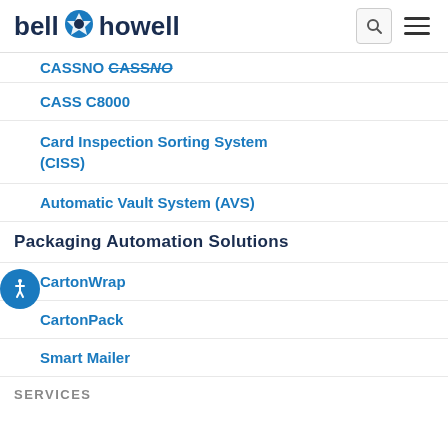bell howell
CASSNO
CASS C8000
Card Inspection Sorting System (CISS)
Automatic Vault System (AVS)
Packaging Automation Solutions
CartonWrap
CartonPack
Smart Mailer
SERVICES